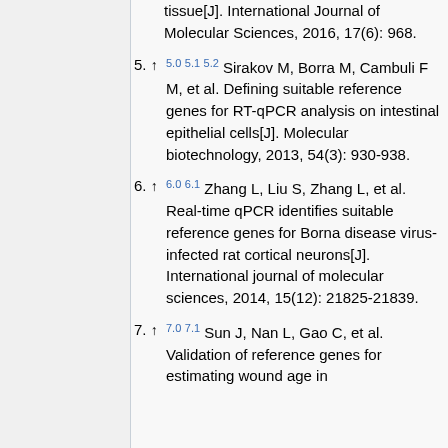tissue[J]. International Journal of Molecular Sciences, 2016, 17(6): 968.
5. ↑ 5.0 5.1 5.2 Sirakov M, Borra M, Cambuli F M, et al. Defining suitable reference genes for RT-qPCR analysis on intestinal epithelial cells[J]. Molecular biotechnology, 2013, 54(3): 930-938.
6. ↑ 6.0 6.1 Zhang L, Liu S, Zhang L, et al. Real-time qPCR identifies suitable reference genes for Borna disease virus-infected rat cortical neurons[J]. International journal of molecular sciences, 2014, 15(12): 21825-21839.
7. ↑ 7.0 7.1 Sun J, Nan L, Gao C, et al. Validation of reference genes for estimating wound age in